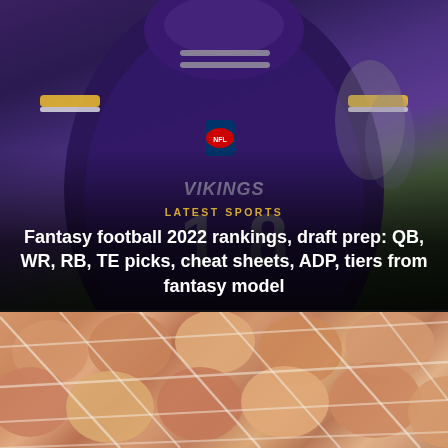[Figure (photo): NFL Minnesota Vikings player #18 in purple and gold uniform with NFL shield logo, close-up action shot on field]
LATEST SPORTS
Fantasy football 2022 rankings, draft prep: QB, WR, RB, TE picks, cheat sheets, ADP, tiers from fantasy model
[Figure (photo): Close-up photo of golden brown bread rolls or buns packed together in a net or bag]